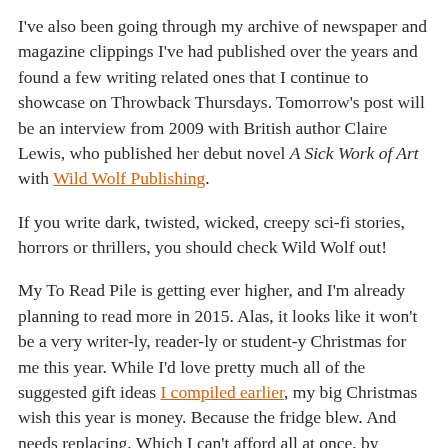I've also been going through my archive of newspaper and magazine clippings I've had published over the years and found a few writing related ones that I continue to showcase on Throwback Thursdays. Tomorrow's post will be an interview from 2009 with British author Claire Lewis, who published her debut novel A Sick Work of Art with Wild Wolf Publishing.
If you write dark, twisted, wicked, creepy sci-fi stories, horrors or thrillers, you should check Wild Wolf out!
My To Read Pile is getting ever higher, and I'm already planning to read more in 2015. Alas, it looks like it won't be a very writer-ly, reader-ly or student-y Christmas for me this year. While I'd love pretty much all of the suggested gift ideas I compiled earlier, my big Christmas wish this year is money. Because the fridge blew. And needs replacing. Which I can't afford all at once, by myself. So I guess those 3 books and 3 audiobooks I'd asked for will have to wait until my birthday. In